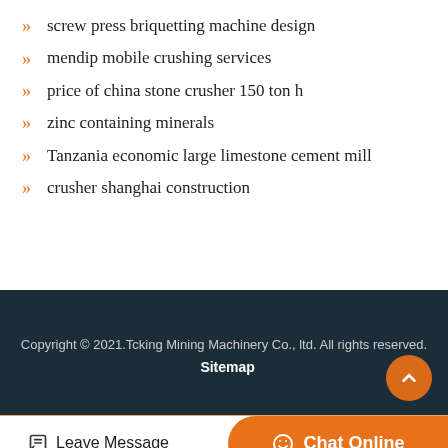screw press briquetting machine design
mendip mobile crushing services
price of china stone crusher 150 ton h
zinc containing minerals
Tanzania economic large limestone cement mill
crusher shanghai construction
Copyright © 2021.Tcking Mining Machinery Co., ltd. All rights reserved. Sitemap
Leave Message  Chat Online